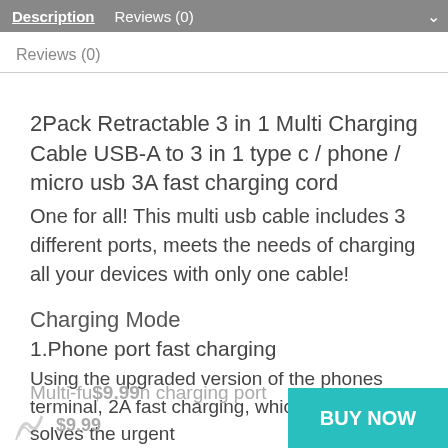Description | Reviews (0)
Reviews (0)
2Pack Retractable 3 in 1 Multi Charging Cable USB-A to 3 in 1 type c / phone / micro usb 3A fast charging cord
One for all! This multi usb cable includes 3 different ports, meets the needs of charging all your devices with only one cable!
Charging Mode
1.Phone port fast charging
Using the upgraded version of the phones terminal, 2A fast charging, which completely solves the urgent need for slow charging of the original equipment.
Multi-function charging port
BUY NOW